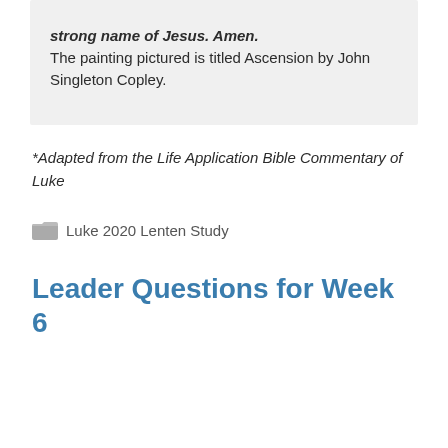everything you have created me to be. In the strong name of Jesus. Amen.
The painting pictured is titled Ascension by John Singleton Copley.
*Adapted from the Life Application Bible Commentary of Luke
Luke 2020 Lenten Study
Leader Questions for Week 6